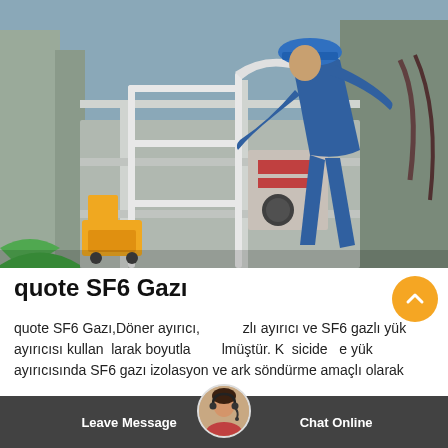[Figure (photo): A worker in blue coveralls and blue hard hat leaning over industrial SF6 gas equipment with metal railings, yellow cart-like equipment on the ground, and various cables and machinery visible in an outdoor substation setting.]
quote SF6 Gazı
quote SF6 Gazı,Döner ayırıcı, SF6 gazlı ayırıcı ve SF6 gazlı yük ayırıcısı kullanılarak boyutları azaltılmıştır. Kesicide ve yük ayırıcısında SF6 gazı izolasyon ve ark söndürme amaçlı olarak
Leave Message   Chat Online